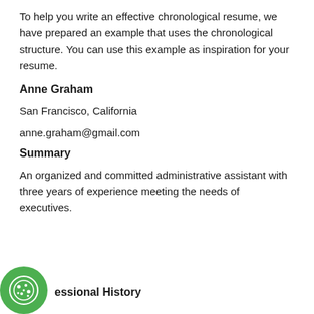To help you write an effective chronological resume, we have prepared an example that uses the chronological structure. You can use this example as inspiration for your resume.
Anne Graham
San Francisco, California
anne.graham@gmail.com
Summary
An organized and committed administrative assistant with three years of experience meeting the needs of executives.
Professional History